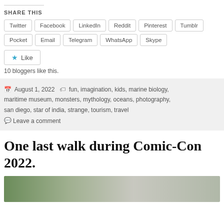SHARE THIS
Twitter
Facebook
LinkedIn
Reddit
Pinterest
Tumblr
Pocket
Email
Telegram
WhatsApp
Skype
Like
10 bloggers like this.
August 1, 2022 fun, imagination, kids, marine biology, maritime museum, monsters, mythology, oceans, photography, san diego, star of india, strange, tourism, travel
Leave a comment
One last walk during Comic-Con 2022.
[Figure (photo): Photo strip at bottom of page showing outdoor scene]